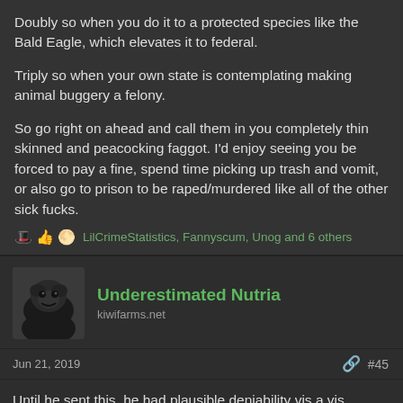Doubly so when you do it to a protected species like the Bald Eagle, which elevates it to federal.

Triply so when your own state is contemplating making animal buggery a felony.

So go right on ahead and call them in you completely thin skinned and peacocking faggot. I'd enjoy seeing you be forced to pay a fine, spend time picking up trash and vomit, or also go to prison to be raped/murdered like all of the other sick fucks.
LilCrimeStatistics, Fannyscum, Unog and 6 others
Underestimated Nutria
kiwifarms.net
Jun 21, 2019
#45
Until he sent this, he had plausible deniability vis a vis people casually searching his name. Wow, what stupidity. The research unequivocally demonstrates